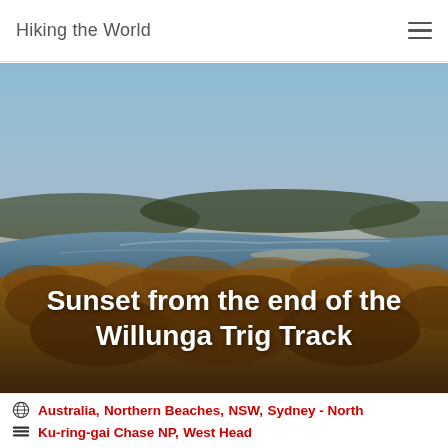Hiking the World
[Figure (photo): Aerial sunset landscape photo showing coastal scrubland and a bay/inlet with warm orange-brown vegetation in the foreground, blue water in the middle ground, and a gradient sky from warm orange at the horizon to light blue above. Text overlay reads 'Sunset from the end of the Willunga Trig Track'.]
Sunset from the end of the Willunga Trig Track
Australia, Northern Beaches, NSW, Sydney - North
Ku-ring-gai Chase NP, West Head